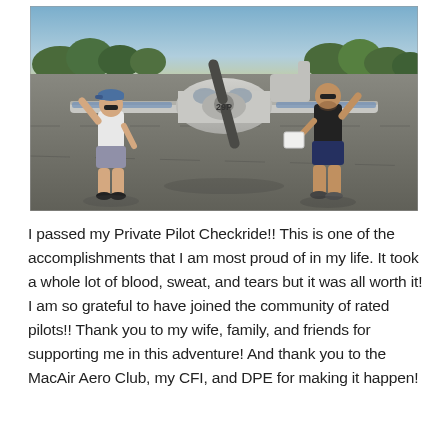[Figure (photo): Two men standing in front of a small propeller airplane (tail number 29P) on an airport tarmac. The man on the left wears a white shirt, blue cap, and gray shorts. The man on the right wears a black shirt and dark shorts and holds a paper. Trees and sky are visible in the background.]
I passed my Private Pilot Checkride!! This is one of the accomplishments that I am most proud of in my life. It took a whole lot of blood, sweat, and tears but it was all worth it! I am so grateful to have joined the community of rated pilots!! Thank you to my wife, family, and friends for supporting me in this adventure! And thank you to the MacAir Aero Club, my CFI, and DPE for making it happen!